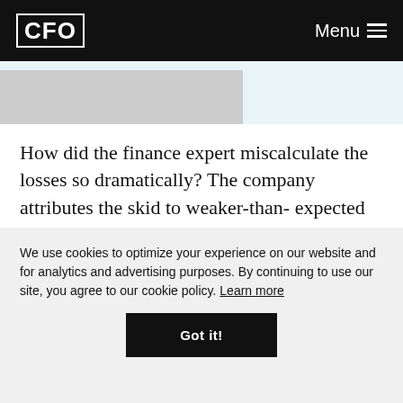CFO | Menu
How did the finance expert miscalculate the losses so dramatically? The company attributes the skid to weaker-than- expected demand, an oversupply of cars, and price cuts by competitors Hertz Corp. and Avis Group Holdings. “We have a very competitive market right now,
We use cookies to optimize your experience on our website and for analytics and advertising purposes. By continuing to use our site, you agree to our cookie policy. Learn more
Got it!